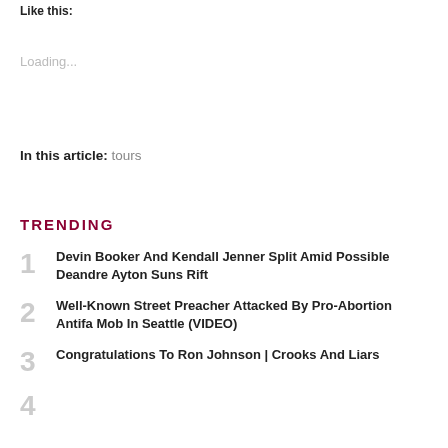Like this:
Loading...
In this article: tours
TRENDING
1 Devin Booker And Kendall Jenner Split Amid Possible Deandre Ayton Suns Rift
2 Well-Known Street Preacher Attacked By Pro-Abortion Antifa Mob In Seattle (VIDEO)
3 Congratulations To Ron Johnson | Crooks And Liars
4 (partially visible)